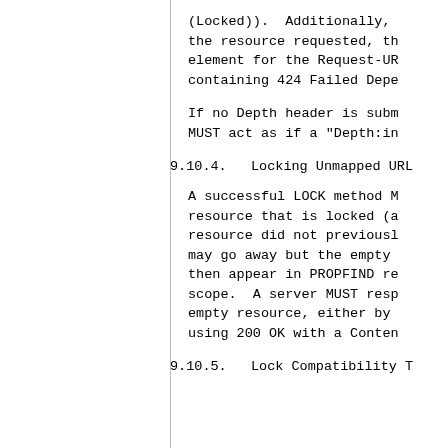(Locked)).  Additionally, the resource requested, th element for the Request-UR containing 424 Failed Depe
If no Depth header is subm MUST act as if a "Depth:in
9.10.4.  Locking Unmapped URL
A successful LOCK method M resource that is locked (a resource did not previousl may go away but the empty then appear in PROPFIND re scope.  A server MUST resp empty resource, either by using 200 OK with a Conten
9.10.5.  Lock Compatibility T